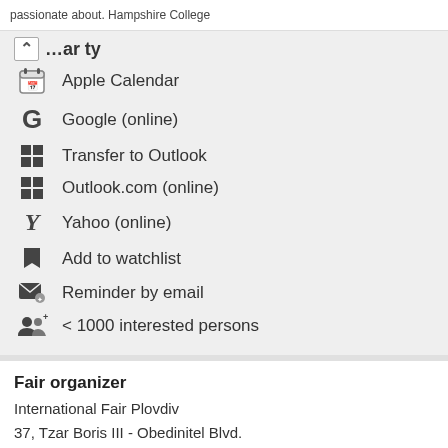passionate about. Hampshire College
Apple Calendar
Google (online)
Transfer to Outlook
Outlook.com (online)
Yahoo (online)
Add to watchlist
Reminder by email
< 1000 interested persons
Fair organizer
International Fair Plovdiv
37, Tzar Boris III - Obedinitel Blvd.
4003 Plovdiv, Bulgaria
Tel: +359 (0)32 903600
Fax: +359 (0)32 902432
Display e-mail address